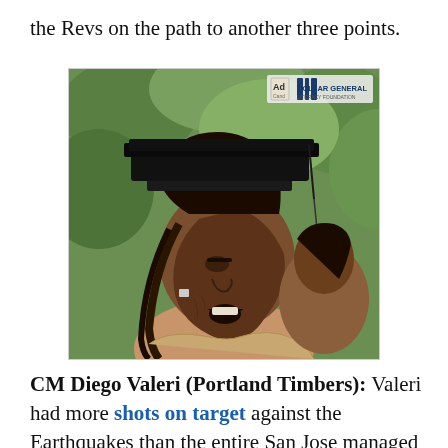the Revs on the path to another three points.
[Figure (photo): A man wearing a black graduation cap and gown, with facial tattoos and braided hair, celebrating with mouth open. A woman is partially visible behind him. Dollar General Literacy Foundation ad overlay in top right corner.]
CM Diego Valeri (Portland Timbers): Valeri had more shots on target against the Earthquakes than the entire San Jose managed in reply. Unfortunately, none of them beat 'keeper Jon Busch - but he did find time to involve himself in all three of Portland's